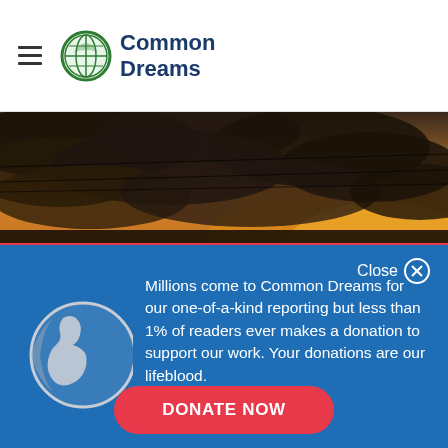Common Dreams
[Figure (photo): Sunset sky with dramatic dark clouds and power/telephone lines silhouetted against orange and golden light]
Millions come to Common Dreams for our one-of-a-kind reporting but less than 1% of readers ever makes a donation to support our work. Your donations are our lifeblood.
DONATE NOW